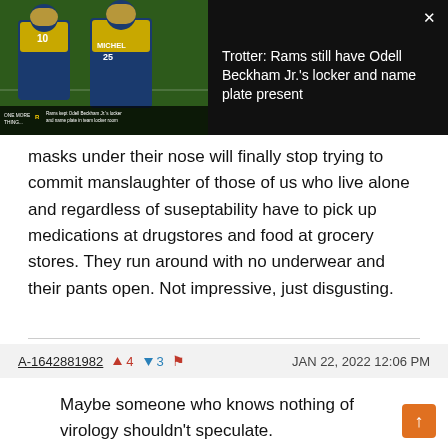[Figure (screenshot): Video thumbnail showing two Los Angeles Rams football players in blue and gold uniforms on a football field with an on-screen caption about Odell Beckham Jr.'s locker]
Trotter: Rams still have Odell Beckham Jr.'s locker and name plate present
masks under their nose will finally stop trying to commit manslaughter of those of us who live alone and regardless of suseptability have to pick up medications at drugstores and food at grocery stores. They run around with no underwear and their pants open. Not impressive, just disgusting.
A-1642881982  ▲4  ▼3  🚩  JAN 22, 2022 12:06 PM
Maybe someone who knows nothing of virology shouldn't speculate.